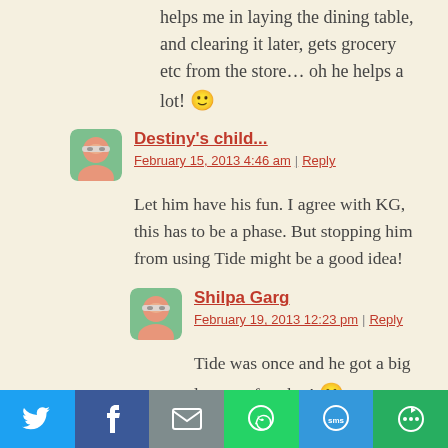helps me in laying the dining table, and clearing it later, gets grocery etc from the store… oh he helps a lot! 🙂
Destiny's child...
February 15, 2013 4:46 am | Reply
Let him have his fun. I agree with KG, this has to be a phase. But stopping him from using Tide might be a good idea!
Shilpa Garg
February 19, 2013 12:23 pm | Reply
Tide was once and he got a big lecture after that! 😀
[Figure (infographic): Social share bar with Twitter, Facebook, Email, WhatsApp, SMS, and More buttons]